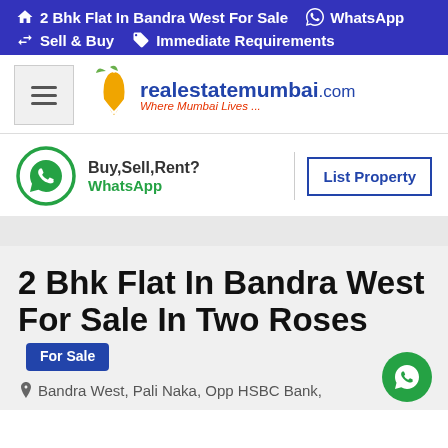2 Bhk Flat In Bandra West For Sale | WhatsApp | Sell & Buy | Immediate Requirements
[Figure (logo): realestatemumbai.com logo with tagline 'Where Mumbai Lives ...']
Buy,Sell,Rent?
WhatsApp
List Property
2 Bhk Flat In Bandra West For Sale In Two Roses
For Sale
Bandra West, Pali Naka, Opp HSBC Bank,